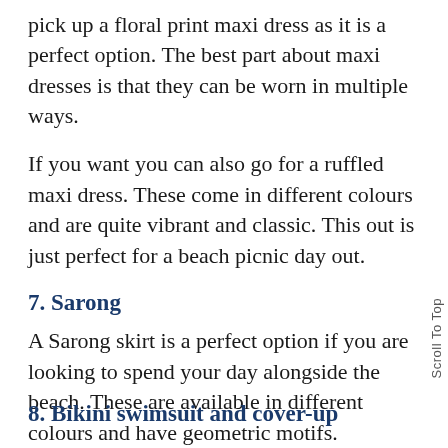pick up a floral print maxi dress as it is a perfect option. The best part about maxi dresses is that they can be worn in multiple ways.
If you want you can also go for a ruffled maxi dress. These come in different colours and are quite vibrant and classic. This out is just perfect for a beach picnic day out.
7. Sarong
A Sarong skirt is a perfect option if you are looking to spend your day alongside the beach. These are available in different colours and have geometric motifs.
8. Bikini swimsuit and cover-up